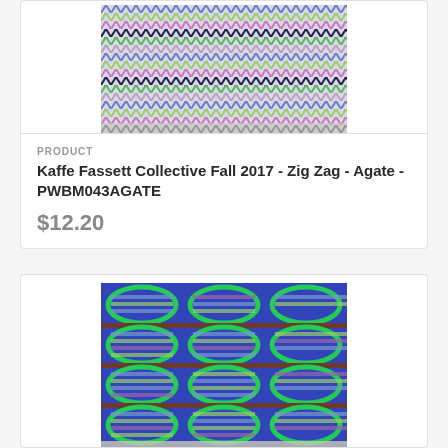[Figure (photo): Kaffe Fassett zig zag agate fabric pattern with multicolor chevron/zigzag stripes in blue, green, purple, pink, and black tones]
PRODUCT
Kaffe Fassett Collective Fall 2017 - Zig Zag - Agate - PWBM043AGATE
$12.20
[Figure (photo): Kaffe Fassett collective fabric pattern with large overlapping ovals/circles on blue background with horizontal stripes in green, blue, purple, brown, and olive tones]